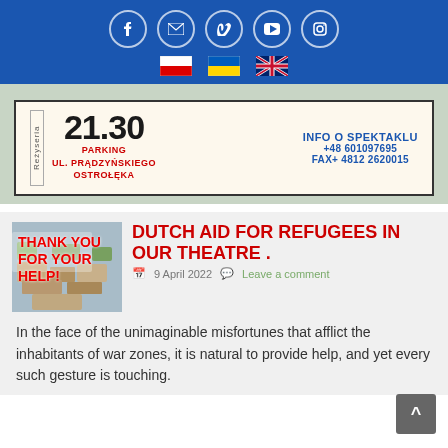Social media icons: Facebook, Email, Vimeo, YouTube, Instagram. Flag icons: Polish, Ukrainian, UK.
[Figure (screenshot): Event info box showing time 21.30, location: Parking Ul. Prądzyńskiego Ostrołęka, Info o spektaklu +48 601097695, FAX+ 4812 2620015, with Reżyseria label on side.]
[Figure (photo): Photo with text 'THANK YOU FOR YOUR HELP!' over boxes of supplies/food aid.]
DUTCH AID FOR REFUGEES IN OUR THEATRE .
9 April 2022   Leave a comment
In the face of the unimaginable misfortunes that afflict the inhabitants of war zones, it is natural to provide help, and yet every such gesture is touching.